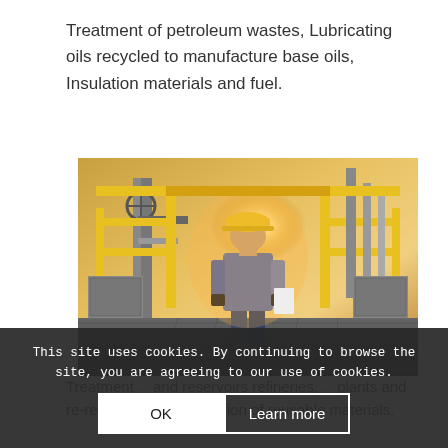Treatment of petroleum wastes, Lubricating oils recycled to manufacture base oils, Insulation materials and fuel.
[Figure (photo): Worker in blue overalls and yellow hard hat walking away through industrial oil refinery facility with yellow railings and bright sunlight]
Treatment of ... and reservoirs refineries, ... plants and re-recycling and production of reusable materials.
This site uses cookies. By continuing to browse the site, you are agreeing to our use of cookies.